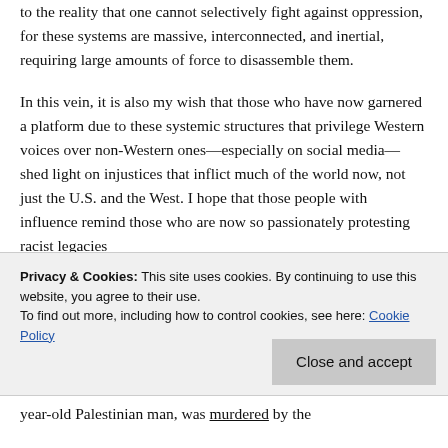to the reality that one cannot selectively fight against oppression, for these systems are massive, interconnected, and inertial, requiring large amounts of force to disassemble them.
In this vein, it is also my wish that those who have now garnered a platform due to these systemic structures that privilege Western voices over non-Western ones—especially on social media—shed light on injustices that inflict much of the world now, not just the U.S. and the West. I hope that those people with influence remind those who are now so passionately protesting racist legacies
Privacy & Cookies: This site uses cookies. By continuing to use this website, you agree to their use.
To find out more, including how to control cookies, see here: Cookie Policy
year-old Palestinian man, was murdered by the